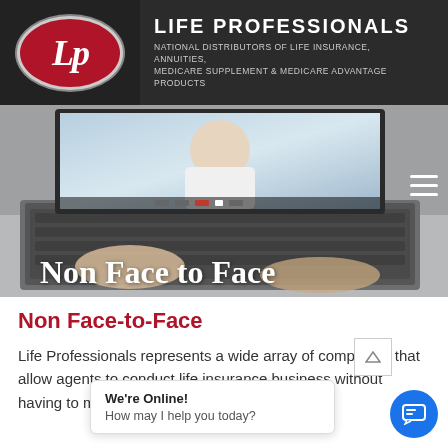LIFE PROFESSIONALS — National Distributors of Life Insurance, Annuities, Medicare Supplement & Medicare Advantage Products
[Figure (photo): Hero banner image showing a person on a video call on a laptop, with overlay text 'Non Face to Face']
Non Face-to-Face
Life Professionals represents a wide array of companies that allow agents to conduct life insurance business without having to me... ace face."
We're Online! How may I help you today?